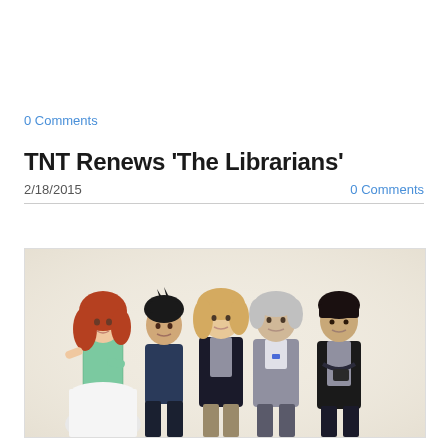0 Comments
TNT Renews 'The Librarians'
2/18/2015
0 Comments
[Figure (photo): Cast photo of 'The Librarians' TV show featuring five cast members standing together against a light background. From left: a woman with red curly hair in a green lace dress with white skirt, a man with dark hair in a navy shirt, a blonde woman in a dark blazer, an older man in a grey suit with bow tie, and a young Asian man in a grey t-shirt with dark jacket.]